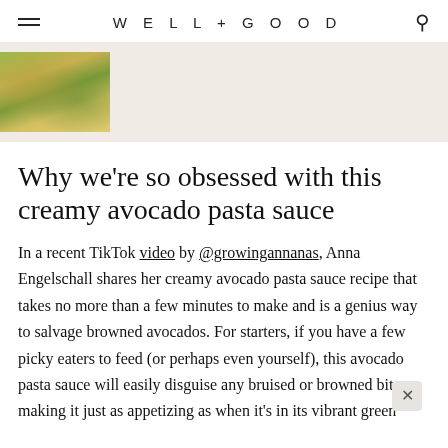WELL+GOOD
[Figure (photo): Thumbnail image of green tacos with toppings on a light background, shown in a banner strip]
Why we're so obsessed with this creamy avocado pasta sauce
In a recent TikTok video by @growingannanas, Anna Engelschall shares her creamy avocado pasta sauce recipe that takes no more than a few minutes to make and is a genius way to salvage browned avocados. For starters, if you have a few picky eaters to feed (or perhaps even yourself), this avocado pasta sauce will easily disguise any bruised or browned bits, making it just as appetizing as when it's in its vibrant green